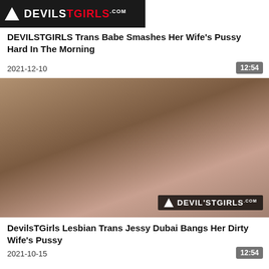[Figure (screenshot): Thumbnail with DevilsTGirls logo on dark background]
DEVILSTGIRLS Trans Babe Smashes Her Wife's Pussy Hard In The Morning
2021-12-10
12:54
[Figure (photo): Two women in an intimate scene on a bed, DevilsTGirls logo overlay in bottom right]
DevilsTGirls Lesbian Trans Jessy Dubai Bangs Her Dirty Wife's Pussy
2021-10-15
12:54